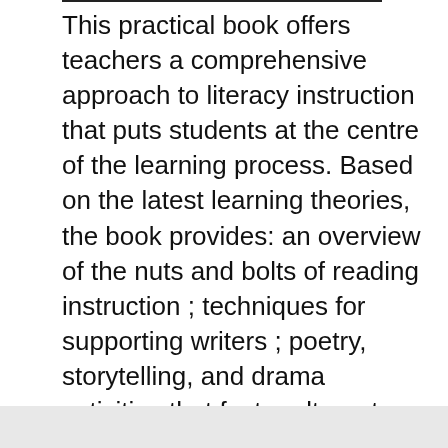This practical book offers teachers a comprehensive approach to literacy instruction that puts students at the centre of the learning process. Based on the latest learning theories, the book provides: an overview of the nuts and bolts of reading instruction ; techniques for supporting writers ; poetry, storytelling, and drama activities that foster alternate ways of learning ; language experiences that guide students from traditional learning to our complex digital world. This book offers the background and strategies teachers need to encourage students